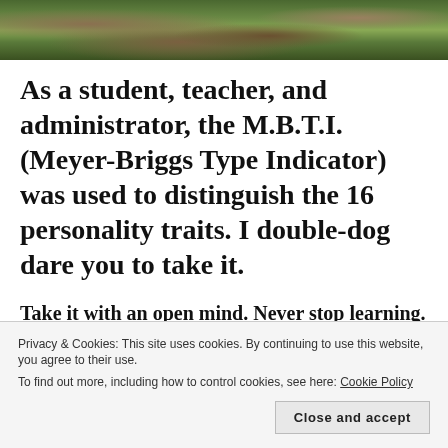[Figure (photo): Outdoor photo showing ground with leaves and grass]
As a student, teacher, and administrator, the M.B.T.I. (Meyer-Briggs Type Indicator) was used to distinguish the 16 personality traits. I double-dog dare you to take it.
Take it with an open mind. Never stop learning. Use this knowledge in your workplace, within your relationships, and
Privacy & Cookies: This site uses cookies. By continuing to use this website, you agree to their use.
To find out more, including how to control cookies, see here: Cookie Policy
Close and accept